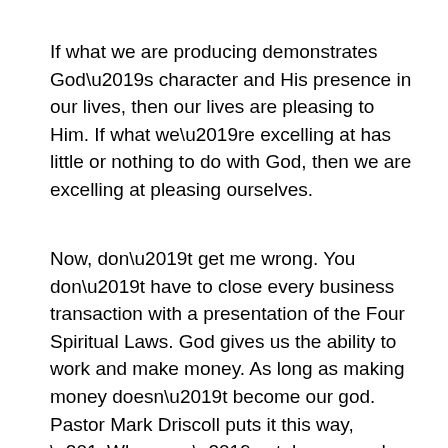If what we are producing demonstrates God’s character and His presence in our lives, then our lives are pleasing to Him. If what we’re excelling at has little or nothing to do with God, then we are excelling at pleasing ourselves.
Now, don’t get me wrong. You don’t have to close every business transaction with a presentation of the Four Spiritual Laws. God gives us the ability to work and make money. As long as making money doesn’t become our god. Pastor Mark Driscoll puts it this way, “When you’ve taken a good thing and